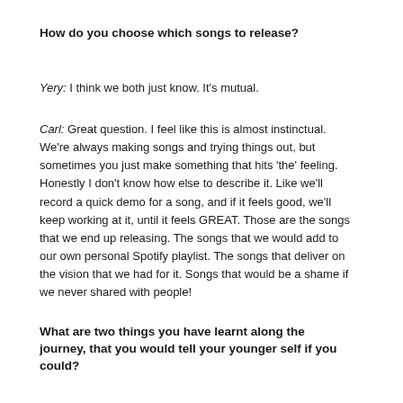How do you choose which songs to release?
Yery: I think we both just know. It's mutual.
Carl: Great question. I feel like this is almost instinctual. We're always making songs and trying things out, but sometimes you just make something that hits 'the' feeling. Honestly I don't know how else to describe it. Like we'll record a quick demo for a song, and if it feels good, we'll keep working at it, until it feels GREAT. Those are the songs that we end up releasing. The songs that we would add to our own personal Spotify playlist. The songs that deliver on the vision that we had for it. Songs that would be a shame if we never shared with people!
What are two things you have learnt along the journey, that you would tell your younger self if you could?